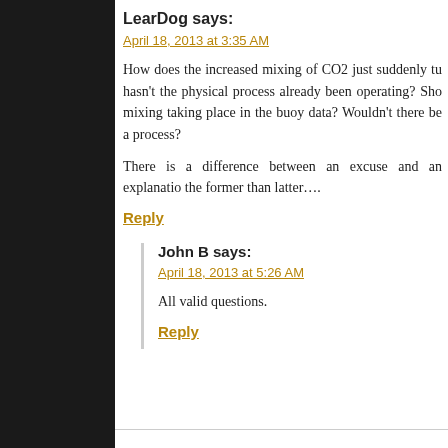LearDog says:
April 18, 2013 at 3:35 AM
How does the increased mixing of CO2 just suddenly tu... hasn't the physical process already been operating? Sho... mixing taking place in the buoy data? Wouldn't there be a... process?
There is a difference between an excuse and an explanatio... the former than latter….
Reply
John B says:
April 18, 2013 at 5:26 AM
All valid questions.
Reply